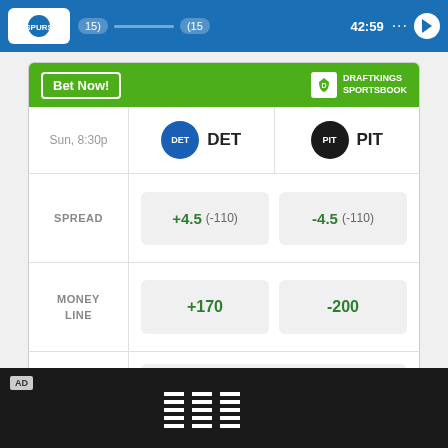[Figure (screenshot): Top blue navigation bar showing sports score/timer: 42:59 with team scores 15 each]
|  | DET | PIT |
| --- | --- | --- |
| SPREAD | +4.5 (-110) | -4.5 (-110) |
| MONEY LINE | +170 | -200 |
| OVER UNDER | > 38.5 (-105) | < 38.5 (-115) |
Odds/Lines subject to change. See draftkings.com for details.
[Figure (logo): IBM logo on black advertisement bar]